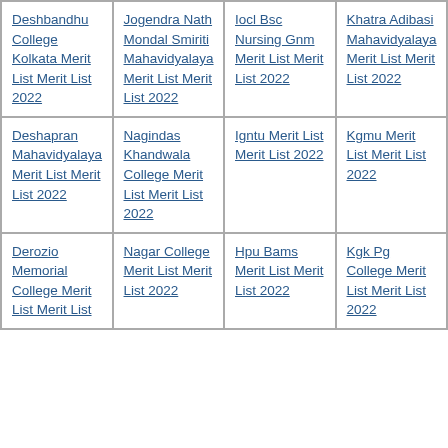Deshbandhu College Kolkata Merit List Merit List 2022
Jogendra Nath Mondal Smiriti Mahavidyalaya Merit List Merit List 2022
Iocl Bsc Nursing Gnm Merit List Merit List 2022
Khatra Adibasi Mahavidyalaya Merit List Merit List 2022
Deshapran Mahavidyalaya Merit List Merit List 2022
Nagindas Khandwala College Merit List Merit List 2022
Igntu Merit List Merit List 2022
Kgmu Merit List Merit List 2022
Derozio Memorial College Merit List Merit List
Nagar College Merit List Merit List 2022
Hpu Bams Merit List Merit List 2022
Kgk Pg College Merit List Merit List 2022